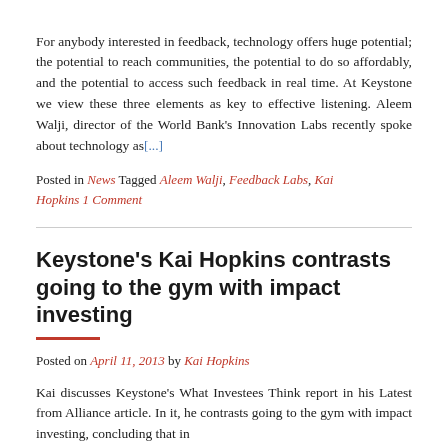For anybody interested in feedback, technology offers huge potential; the potential to reach communities, the potential to do so affordably, and the potential to access such feedback in real time. At Keystone we view these three elements as key to effective listening. Aleem Walji, director of the World Bank's Innovation Labs recently spoke about technology as[...]
Posted in News Tagged Aleem Walji, Feedback Labs, Kai Hopkins 1 Comment
Keystone's Kai Hopkins contrasts going to the gym with impact investing
Posted on April 11, 2013 by Kai Hopkins
Kai discusses Keystone's What Investees Think report in his Latest from Alliance article. In it, he contrasts going to the gym with impact investing, concluding that in